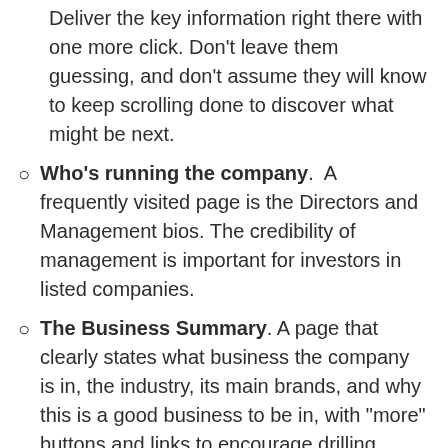Deliver the key information right there with one more click. Don’t leave them guessing, and don’t assume they will know to keep scrolling done to discover what might be next.
Who’s running the company. A frequently visited page is the Directors and Management bios. The credibility of management is important for investors in listed companies.
The Business Summary. A page that clearly states what business the company is in, the industry, its main brands, and why this is a good business to be in, with “more” buttons and links to encourage drilling down. Don’t assume that visitors know anything about